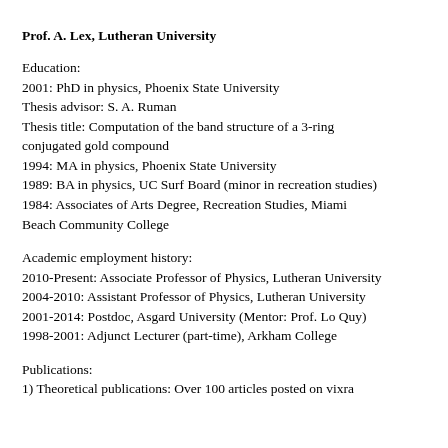Prof. A. Lex, Lutheran University
Education:
2001: PhD in physics, Phoenix State University
Thesis advisor: S. A. Ruman
Thesis title: Computation of the band structure of a 3-ring conjugated gold compound
1994: MA in physics, Phoenix State University
1989: BA in physics, UC Surf Board (minor in recreation studies)
1984: Associates of Arts Degree, Recreation Studies, Miami Beach Community College
Academic employment history:
2010-Present: Associate Professor of Physics, Lutheran University
2004-2010: Assistant Professor of Physics, Lutheran University
2001-2014: Postdoc, Asgard University (Mentor: Prof. Lo Quy)
1998-2001: Adjunct Lecturer (part-time), Arkham College
Publications:
1) Theoretical publications: Over 100 articles posted on vixra